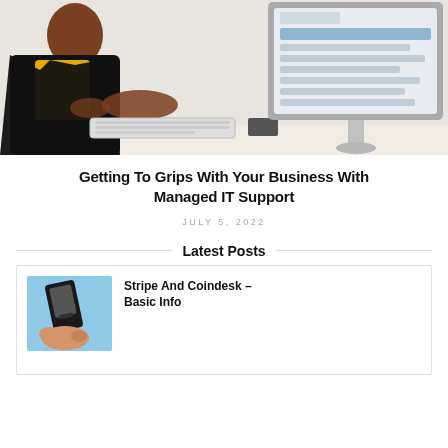[Figure (photo): A woman typing at a desktop computer. She is wearing a yellow shirt and black jacket, viewed from the side. A desktop monitor is visible on the right showing text/data on screen.]
Getting To Grips With Your Business With Managed IT Support
JULY 5, 2022
Latest Posts
[Figure (photo): A hand holding a credit card payment terminal / card reader device against a light blue background.]
Stripe And Coindesk – Basic Info